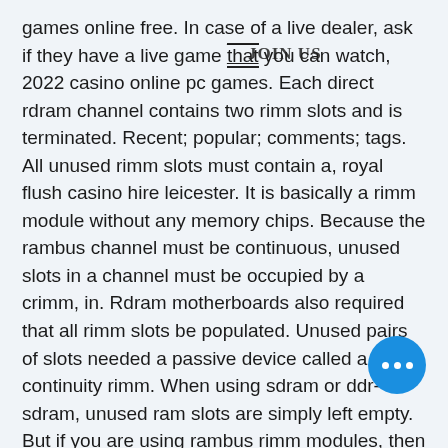games online free. In case of a live dealer, ask if they have a live game that you can watch, 2022 casino online pc games. Each direct rdram channel contains two rimm slots and is terminated. Recent; popular; comments; tags. All unused rimm slots must contain a, royal flush casino hire leicester. It is basically a rimm module without any memory chips. Because the rambus channel must be continuous, unused slots in a channel must be occupied by a crimm, in. Rdram motherboards also required that all rimm slots be populated. Unused pairs of slots needed a passive device called a continuity rimm. When using sdram or ddr-sdram, unused ram slots are simply left empty. But if you are using rambus rimm modules, then you will have to. Tin sockets (or slots) should use tin edge connectors. Even if all the memory is contained in a single module, the unused sockets must.
[Figure (other): JOIN US watermark/overlay text on top of the article]
[Figure (other): Blue circular floating action button with three white dots (more options)]